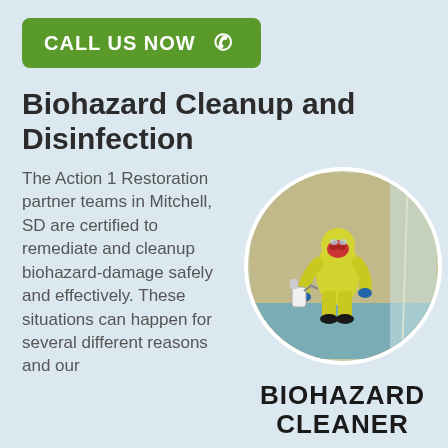CALL US NOW
Biohazard Cleanup and Disinfection
The Action 1 Restoration partner teams in Mitchell, SD are certified to remediate and cleanup biohazard-damage safely and effectively. These situations can happen for several different reasons and our
[Figure (photo): A person in a yellow hazmat suit with a red respirator mask, holding a spray pump, standing in a room with plastic sheeting.]
BIOHAZARD CLEANER